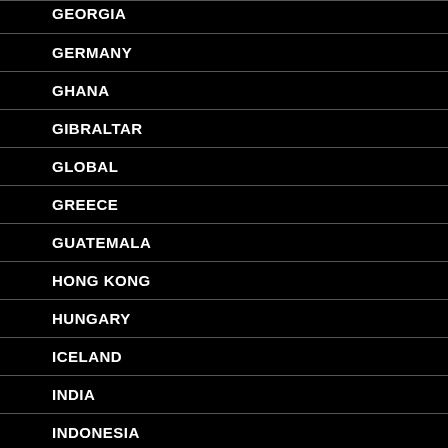GEORGIA
GERMANY
GHANA
GIBRALTAR
GLOBAL
GREECE
GUATEMALA
HONG KONG
HUNGARY
ICELAND
INDIA
INDONESIA
IRAQ